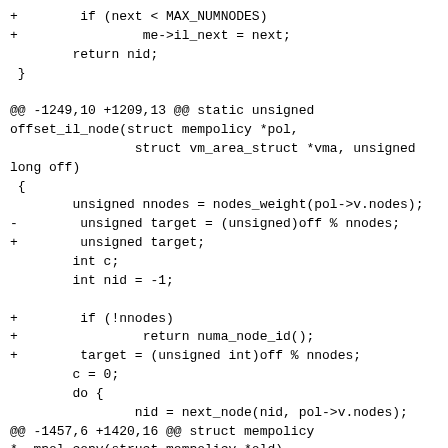+        if (next < MAX_NUMNODES)
+                me->il_next = next;
        return nid;
 }

@@ -1249,10 +1209,13 @@ static unsigned offset_il_node(struct mempolicy *pol,
                struct vm_area_struct *vma, unsigned long off)
 {
        unsigned nnodes = nodes_weight(pol->v.nodes);
-        unsigned target = (unsigned)off % nnodes;
+        unsigned target;
        int c;
        int nid = -1;

+        if (!nnodes)
+                return numa_node_id();
+        target = (unsigned int)off % nnodes;
        c = 0;
        do {
                nid = next_node(nid, pol->v.nodes);
@@ -1457,6 +1420,16 @@ struct mempolicy *__mpol_copy(struct mempolicy *old)
        return new;
 }

+static int mpol_match_intent(const struct mempolicy *a,
+                                        const struct mempolicy *b)